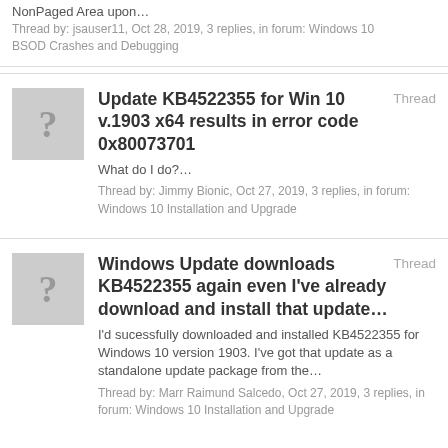NonPaged Area upon…
Thread by: jsauser11, Oct 28, 2019, 3 replies, in forum: Windows 10 BSOD Crashes and Debugging
Update KB4522355 for Win 10 v.1903 x64 results in error code 0x80073701
What do I do?…
Thread by: Jimmy Bionic, Oct 27, 2019, 3 replies, in forum: Windows 10 Installation and Upgrade
Windows Update downloads KB4522355 again even I've already download and install that update…
I'd sucessfully downloaded and installed KB4522355 for Windows 10 version 1903. I've got that update as a standalone update package from the…
Thread by: Marr Raimund Salcedo, Oct 27, 2019, 3 replies, in forum: Windows 10 Installation and Upgrade